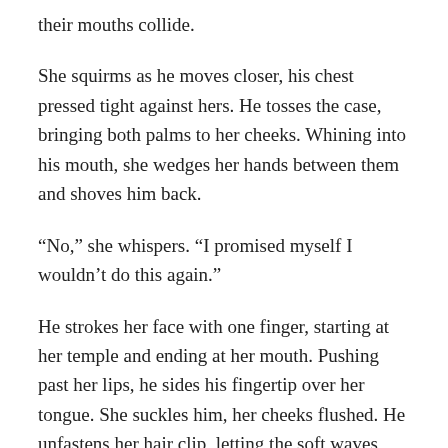their mouths collide.
She squirms as he moves closer, his chest pressed tight against hers. He tosses the case, bringing both palms to her cheeks. Whining into his mouth, she wedges her hands between them and shoves him back.
“No,” she whispers. “I promised myself I wouldn’t do this again.”
He strokes her face with one finger, starting at her temple and ending at her mouth. Pushing past her lips, he sides his fingertip over her tongue. She suckles him, her cheeks flushed. He unfastens her hair clip, letting the soft waves cascade onto her shoulders.
“I’ve missed you,” he says.